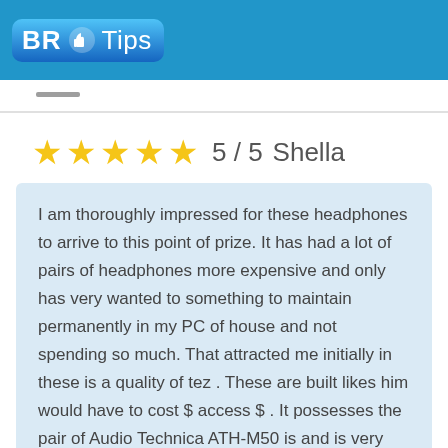[Figure (logo): BR Tips logo with thumbs up icon on blue banner header]
5 / 5   Shella
I am thoroughly impressed for these headphones to arrive to this point of prize. It has had a lot of pairs of headphones more expensive and only has very wanted to something to maintain permanently in my PC of house and not spending so much. That attracted me initially in these is a quality of tez . These are built likes him would have to cost $ access $ . It possesses the pair of Audio Technica ATH-M50 is and is very similar in an edifice of